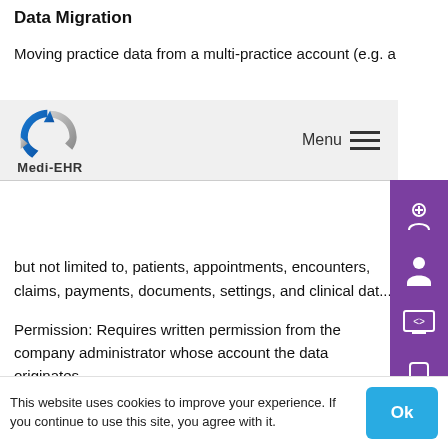Data Migration
Moving practice data from a multi-practice account (e.g. a ...
but not limited to, patients, appointments, encounters, claims, payments, documents, settings, and clinical dat...
Permission: Requires written permission from the company administrator whose account the data originates.
Fees for data migration are determined based on the details for the specific migration and are quoted through by Medi-EHR's data services team.
This website uses cookies to improve your experience. If you continue to use this site, you agree with it.